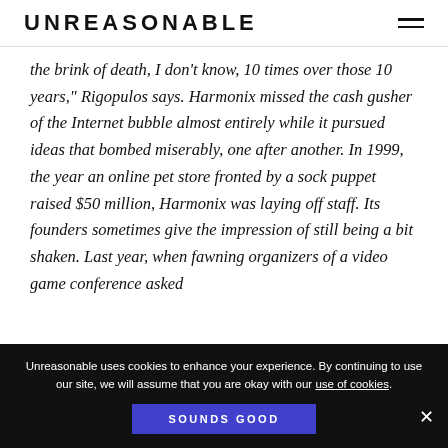UNREASONABLE
the brink of death, I don't know, 10 times over those 10 years," Rigopulos says. Harmonix missed the cash gusher of the Internet bubble almost entirely while it pursued ideas that bombed miserably, one after another. In 1999, the year an online pet store fronted by a sock puppet raised $50 million, Harmonix was laying off staff. Its founders sometimes give the impression of still being a bit shaken. Last year, when fawning organizers of a video game conference asked
Unreasonable uses cookies to enhance your experience. By continuing to use our site, we will assume that you are okay with our use of cookies.
SOUNDS GOOD